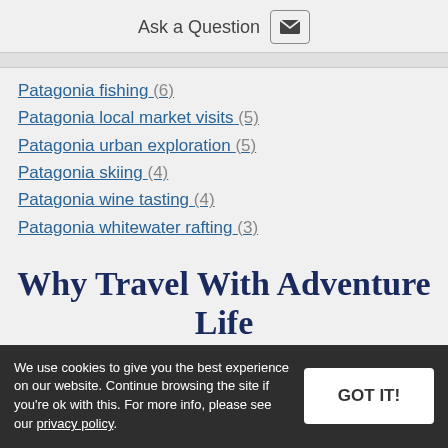Ask a Question
Patagonia fishing (6)
Patagonia local market visits (5)
Patagonia urban exploration (5)
Patagonia skiing (4)
Patagonia wine tasting (4)
Patagonia whitewater rafting (3)
Why Travel With Adventure Life
More Reasons
We use cookies to give you the best experience on our website. Continue browsing the site if you’re ok with this. For more info, please see our privacy policy.